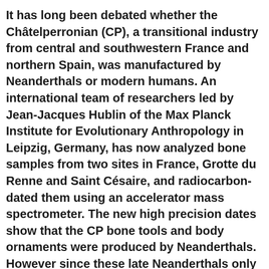It has long been debated whether the Châtelperronian (CP), a transitional industry from central and southwestern France and northern Spain, was manufactured by Neanderthals or modern humans. An international team of researchers led by Jean-Jacques Hublin of the Max Planck Institute for Evolutionary Anthropology in Leipzig, Germany, has now analyzed bone samples from two sites in France, Grotte du Renne and Saint Césaire, and radiocarbon-dated them using an accelerator mass spectrometer. The new high precision dates show that the CP bone tools and body ornaments were produced by Neanderthals. However since these late Neanderthals only manufactured CP body ornaments after modern humans arrived in neighboring regions, the study suggests that cultural diffusion might have taken place between modern humans and Neanderthals.